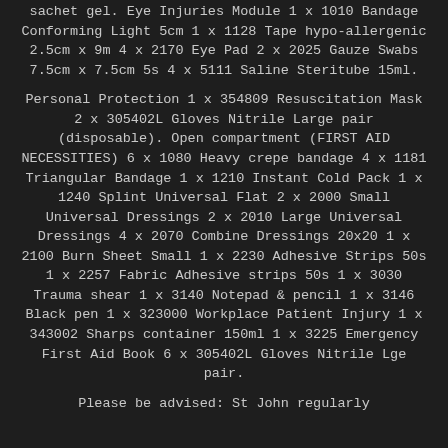sachet gel. Eye Injuries Module 1 x 1010 Bandage Conforming Light 5cm 1 x 1128 Tape hypo-allergenic 2.5cm x 9m 4 x 2170 Eye Pad 2 x 2025 Gauze Swabs 7.5cm x 7.5cm 5s 4 x 5111 Saline Steritube 15ml.
Personal Protection 1 x 354809 Resuscitation Mask 2 x 305402L Gloves Nitrile Large pair (disposable). Open compartment (FIRST AID NECESSITIES) 6 x 1080 Heavy crepe bandage 4 x 1181 Triangular Bandage 1 x 1210 Instant Cold Pack 1 x 1240 Splint Universal Flat 2 x 2000 Small Universal Dressings 2 x 2010 Large Universal Dressings 4 x 2070 Combine Dressings 20x20 1 x 2100 Burn Sheet Small 1 x 2230 Adhesive Strips 50s 1 x 2257 Fabric Adhesive strips 50s 1 x 3030 Trauma shear 1 x 3140 Notepad & pencil 1 x 3146 Black pen 1 x 323000 Workplace Patient Injury 1 x 343002 Sharps container 150ml 1 x 3225 Emergency First Aid Book 6 x 305402L Gloves Nitrile Lge pair.
Please be advised: St John regularly